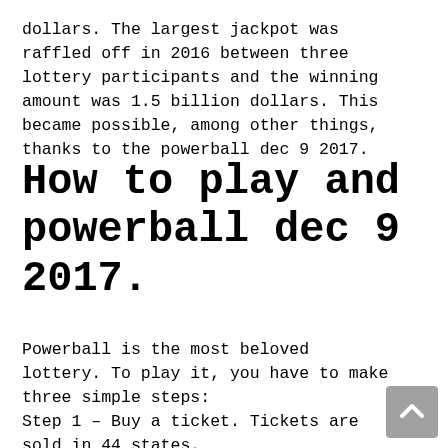dollars. The largest jackpot was raffled off in 2016 between three lottery participants and the winning amount was 1.5 billion dollars. This became possible, among other things, thanks to the powerball dec 9 2017.
How to play and powerball dec 9 2017.
Powerball is the most beloved lottery. To play it, you have to make three simple steps:
Step 1 – Buy a ticket. Tickets are sold in 44 states.
Step 2 – Wait for the draw and check your ticket. Prizes depend on the...